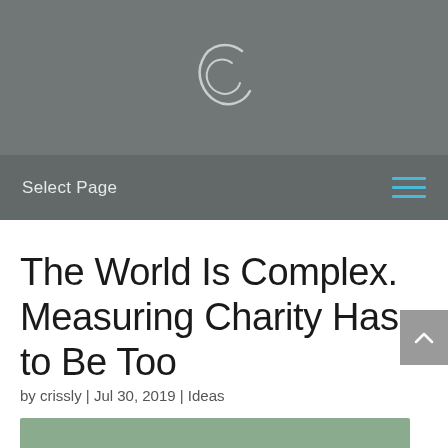S (logo)
Select Page
The World Is Complex. Measuring Charity Has to Be Too
by crissly | Jul 30, 2019 | Ideas
[Figure (photo): Green-toned image strip at bottom of page]